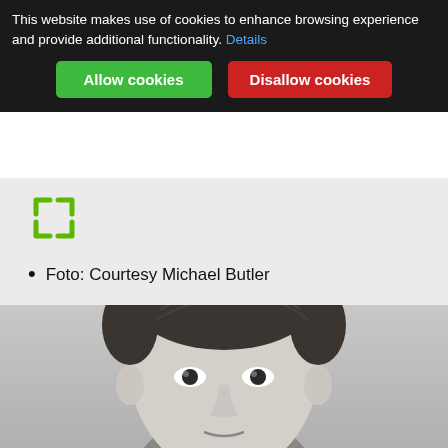This website makes use of cookies to enhance browsing experience and provide additional functionality. Details
Allow cookies
Disallow cookies
[Figure (other): Green expand/fullscreen icon with four arrows pointing outward]
Foto: Courtesy Michael Butler
[Figure (photo): Black and white portrait photograph of a young man with neat, combed hair, facing forward]